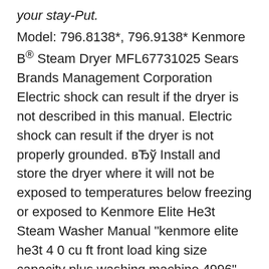your stay-Put.
Model: 796.8138*, 796.9138* Kenmore B® Steam Dryer MFL67731025 Sears Brands Management Corporation Electric shock can result if the dryer is not described in this manual. Electric shock can result if the dryer is not properly grounded. вЂў Install and store the dryer where it will not be exposed to temperatures below freezing or exposed to Kenmore Elite He3t Steam Washer Manual "kenmore elite he3t 4 0 cu ft front load king size capacity plus washing machine 4996" Kenmore Elite 4.5 cu. ft. Front-Load Washer w/Steam & Accela-Wash. Shop for KENMORE ELITE WASHER repair parts for model Elite-HE3t. View and Download Kenmore ENERGY HE3T user manual online. l Steam 4.0 cu.